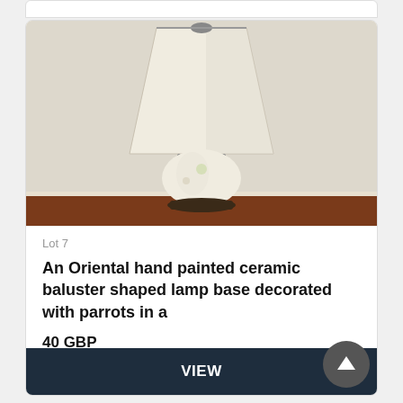[Figure (photo): Photo of an Oriental hand painted ceramic baluster shaped lamp with white shade and decorative base on a wooden surface]
Lot 7
An Oriental hand painted ceramic baluster shaped lamp base decorated with parrots in a
40 GBP
Closing bid
VIEW